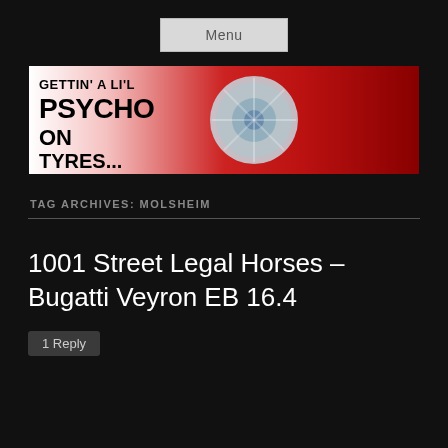Menu
[Figure (photo): Blog banner image showing a blurred spinning car wheel/tire with red bodywork, overlaid with bold text reading GETTIN' A LI'L PSYCHO ON TYRES...]
TAG ARCHIVES: MOLSHEIM
1001 Street Legal Horses – Bugatti Veyron EB 16.4
1 Reply